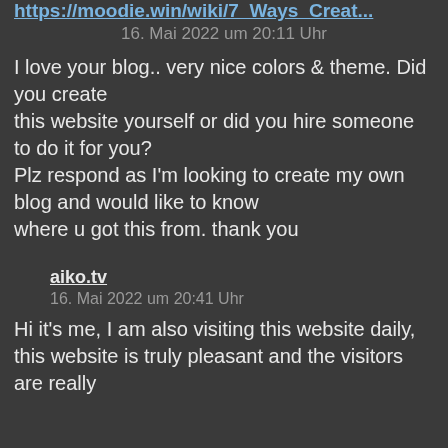https://moodie.win/wiki/7_Ways_Crea...
16. Mai 2022 um 20:11 Uhr
I love your blog.. very nice colors & theme. Did you create
this website yourself or did you hire someone to do it for you?
Plz respond as I'm looking to create my own blog and would like to know
where u got this from. thank you
aiko.tv
16. Mai 2022 um 20:41 Uhr
Hi it's me, I am also visiting this website daily, this website is truly pleasant and the visitors are really